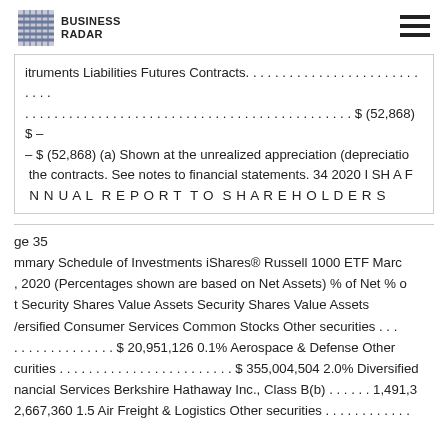BUSINESS RADAR
itruments Liabilities Futures Contracts. . . . . . . . . . . . . . . . . . . . . . . . . . . . . . . . . . . . . . . . . . . . . . . . . . . . . . . . . . . . . . . . . . . . . . . . . . . . . . . . . . . . . . . . . $ (52,868) $ – – $ (52,868) (a) Shown at the unrealized appreciation (depreciatio the contracts. See notes to financial statements. 34 2020 I SH A F ANNUAL REPORT TO SHAREHOLDERS
ge 35 mmary Schedule of Investments iShares® Russell 1000 ETF March , 2020 (Percentages shown are based on Net Assets) % of Net % o t Security Shares Value Assets Security Shares Value Assets /ersified Consumer Services Common Stocks Other securities . . . . . . . . . . . . . . . $ 20,951,126 0.1% Aerospace & Defense Other curities . . . . . . . . . . . . . . . . . . . . . . . . $ 355,004,504 2.0% Diversified nancial Services Berkshire Hathaway Inc., Class B(b) . . . . . . 1,491,3 2,667,360 1.5 Air Freight & Logistics Other securities . . . . . . . . . . . .